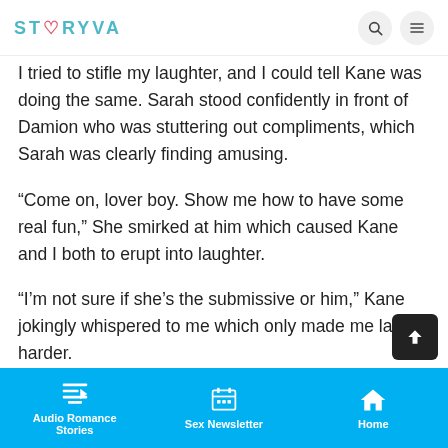STORYVA
I tried to stifle my laughter, and I could tell Kane was doing the same. Sarah stood confidently in front of Damion who was stuttering out compliments, which Sarah was clearly finding amusing.
“Come on, lover boy. Show me how to have some real fun,” She smirked at him which caused Kane and I both to erupt into laughter.
“I’m not sure if she’s the submissive or him,” Kane jokingly whispered to me which only made me laugh harder.
“Is everyone ready?” Damion asked, a tint of red...
Audio Romance Stories | Sex Newsletter | Home